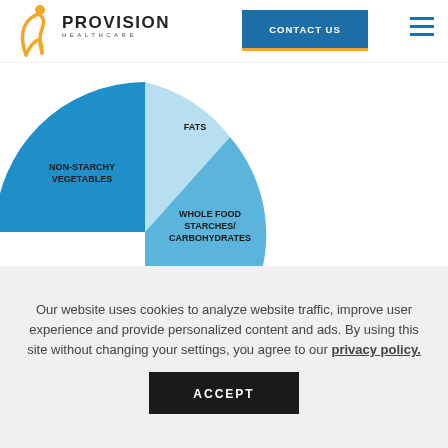Provision Healthcare — CONTACT US
[Figure (pie-chart): Food Groups Pie Chart]
(MORE...)
Our website uses cookies to analyze website traffic, improve user experience and provide personalized content and ads. By using this site without changing your settings, you agree to our privacy policy.
ACCEPT